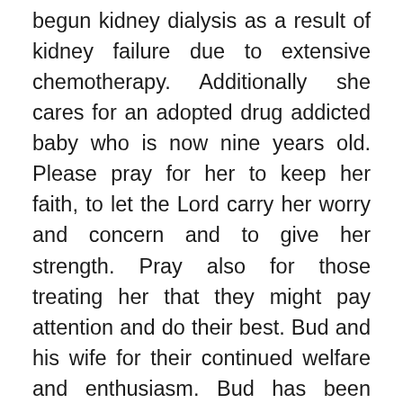begun kidney dialysis as a result of kidney failure due to extensive chemotherapy. Additionally she cares for an adopted drug addicted baby who is now nine years old. Please pray for her to keep her faith, to let the Lord carry her worry and concern and to give her strength. Pray also for those treating her that they might pay attention and do their best. Bud and his wife for their continued welfare and enthusiasm. Bud has been advised of an aneurism in his heart of a size not mandating immediate surgery. This comes at a time when he has sole care of his wife who recently broke two vertebrae and thereafter sustained pneumonia. Dester is suffering from unknown skin and diseases. Please guide the medical team treating him to find out what the problem is and cure it. Pray also for Dester to